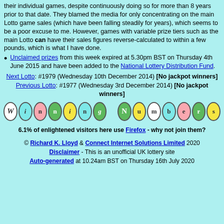their individual games, despite continuously doing so for more than 8 years prior to that date. They blamed the media for only concentrating on the main Lotto game sales (which have been falling steadily for years), which seems to be a poor excuse to me. However, games with variable prize tiers such as the main Lotto can have their sales figures reverse-calculated to within a few pounds, which is what I have done.
Unclaimed prizes from this week expired at 5.30pm BST on Thursday 4th June 2015 and have been added to the National Lottery Distribution Fund.
Next Lotto: #1979 (Wednesday 10th December 2014) [No jackpot winners]
Previous Lotto: #1977 (Wednesday 3rd December 2014) [No jackpot winners]
[Figure (illustration): Winning Numbers logo made of colorful letter circles spelling out 'Winning Numbers']
6.1% of enlightened visitors here use Firefox - why not join them?
© Richard K. Lloyd & Connect Internet Solutions Limited 2020 Disclaimer - This is an unofficial UK lottery site Auto-generated at 10.24am BST on Thursday 16th July 2020